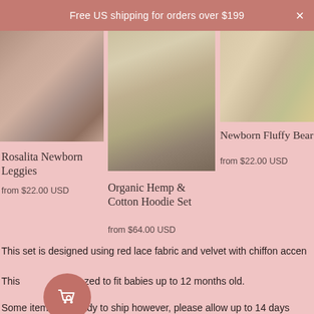Free US shipping for orders over $199
[Figure (photo): Newborn leggies clothing items laid out on a wooden surface, pink fabrics]
Rosalita Newborn Leggies
from $22.00 USD
[Figure (photo): Organic hemp and cotton hoodie set displayed on a hanger, cream/beige color]
Organic Hemp & Cotton Hoodie Set
from $64.00 USD
[Figure (photo): Newborn fluffy bear outfit, yellow and soft tones]
Newborn Fluffy Bear
from $22.00 USD
This set is designed using red lace fabric and velvet with chiffon accen
This [icon]zed to fit babies up to 12 months old.
Some items are ready to ship however, please allow up to 14 days